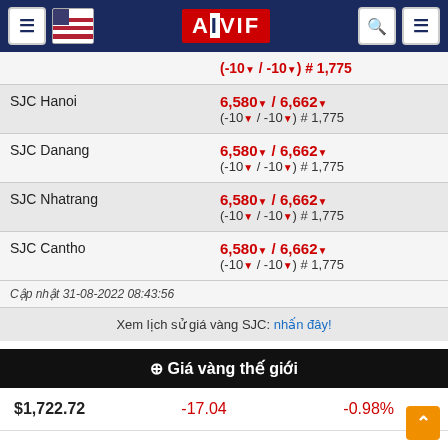[Figure (screenshot): AIVIF website header with navigation icons, US flag, AIVIF logo, search and menu buttons on dark blue background]
| Location | Price / Change / Rate |
| --- | --- |
|  | (-10▼ / -10▼) # 1,775 |
| SJC Hanoi | 6,580▼ / 6,662▼
(-10▼ / -10▼) # 1,775 |
| SJC Danang | 6,580▼ / 6,662▼
(-10▼ / -10▼) # 1,775 |
| SJC Nhatrang | 6,580▼ / 6,662▼
(-10▼ / -10▼) # 1,775 |
| SJC Cantho | 6,580▼ / 6,662▼
(-10▼ / -10▼) # 1,775 |
Cập nhật 31-08-2022 08:43:56
Xem lịch sử giá vàng SJC: nhấn đây!
⊕ Giá vàng thế giới
| Price | Change | Percent |
| --- | --- | --- |
| $1,722.72 | -17.04 | -0.98% |